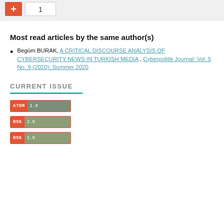[Figure (other): Top bar with red plus button and number box showing '1']
Most read articles by the same author(s)
Begüm BURAK, A CRITICAL DISCOURSE ANALYSIS OF CYBERSECURITY NEWS IN TURKISH MEDIA , Cyberpolitik Journal: Vol. 5 No. 9 (2020): Summer 2020
CURRENT ISSUE
[Figure (other): ATOM 1.0 feed badge]
[Figure (other): RSS 2.0 feed badge]
[Figure (other): RSS 1.0 feed badge]